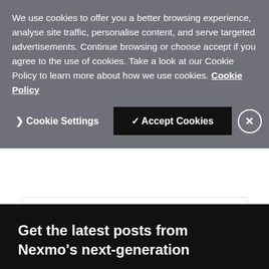We use cookies to offer you a better browsing experience, analyse site traffic, personalise content, and serve targeted advertisements. Continue browsing or choose accept if you agree to the use of cookies. Take a look at our Cookie Policy to learn more about how we use cookies. Cookie Policy
❯ Cookie Settings
✓ Accept Cookies
project, ensuring that ...
Get the latest posts from Nexmo's next-generation